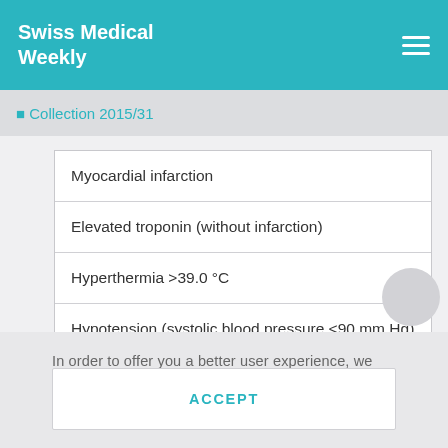Swiss Medical Weekly
⬤ Collection 2015/31
Myocardial infarction
Elevated troponin (without infarction)
Hyperthermia >39.0 °C
Hypotension (systolic blood pressure <90 mm Hg)
In order to offer you a better user experience, we use cookies. Additional information can be found here..
ACCEPT